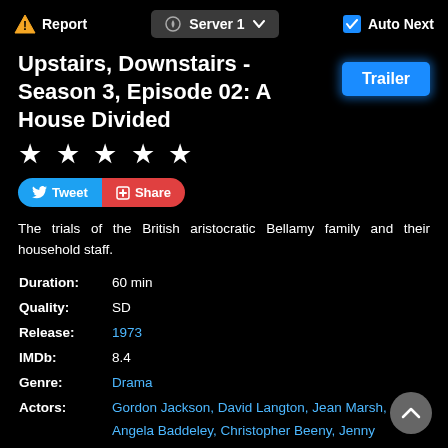Report  Server 1  Auto Next
Upstairs, Downstairs - Season 3, Episode 02: A House Divided
[Figure (other): Five white stars rating]
[Figure (other): Trailer button (blue, glowing)]
[Figure (other): Tweet and Share social buttons]
The trials of the British aristocratic Bellamy family and their household staff.
| Duration: | 60 min |
| Quality: | SD |
| Release: | 1973 |
| IMDb: | 8.4 |
| Genre: | Drama |
| Actors: | Gordon Jackson, David Langton, Jean Marsh, Angela Baddeley, Christopher Beeny, Jenny Tomasin, Simon Williams, Jacqueline Tong, Lesley-Anne Down, Meg Wynn Owen, Rachel Gurney, ...» |
| Director: | Bill Bain, Christopher Hodson, James Ormerod |